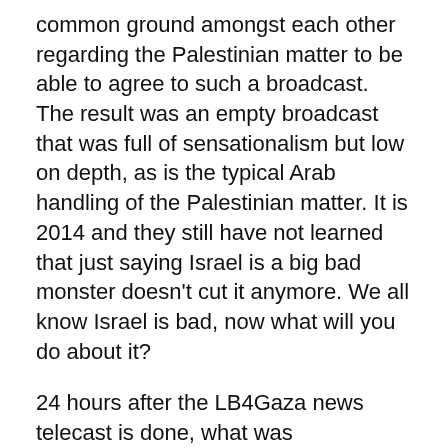common ground amongst each other regarding the Palestinian matter to be able to agree to such a broadcast. The result was an empty broadcast that was full of sensationalism but low on depth, as is the typical Arab handling of the Palestinian matter. It is 2014 and they still have not learned that just saying Israel is a big bad monster doesn't cut it anymore. We all know Israel is bad, now what will you do about it?

24 hours after the LB4Gaza news telecast is done, what was accomplished apart from a sporadic increase in discourse about the issue among a Lebanese populace that is already knee-deep in its own problems as it is and a quirky Exotica ad just to jump on the bandwagon? Wouldn't it have been better for Gaza if, instead of failing to have a high-level discourse about the issue, all 8 stations organized a telethon that helped raise money and